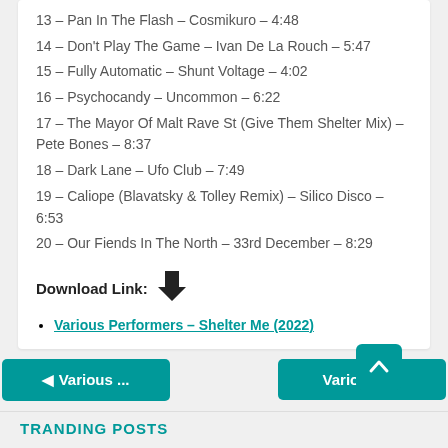13 – Pan In The Flash – Cosmikuro – 4:48
14 – Don't Play The Game – Ivan De La Rouch – 5:47
15 – Fully Automatic – Shunt Voltage – 4:02
16 – Psychocandy – Uncommon – 6:22
17 – The Mayor Of Malt Rave St (Give Them Shelter Mix) – Pete Bones – 8:37
18 – Dark Lane – Ufo Club – 7:49
19 – Caliope (Blavatsky & Tolley Remix) – Silico Disco – 6:53
20 – Our Fiends In The North – 33rd December – 8:29
Download Link:
Various Performers – Shelter Me (2022)
◄ Various ...   Various P...
TRANDING POSTS